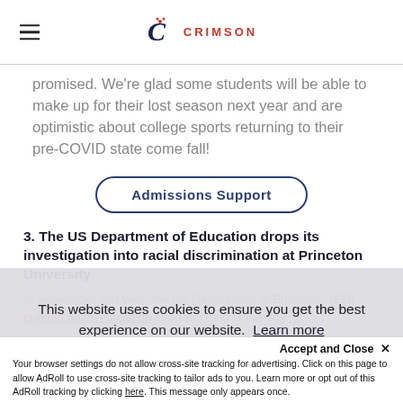CRIMSON
promised. We're glad some students will be able to make up for their lost season next year and are optimistic about college sports returning to their pre-COVID state come fall!
Admissions Support
3. The US Department of Education drops its investigation into racial discrimination at Princeton University
In September last year, the US Department of Education (ED) opened an investigation into Princeton University...
This website uses cookies to ensure you get the best experience on our website. Learn more
Accept and Close ✕
Your browser settings do not allow cross-site tracking for advertising. Click on this page to allow AdRoll to use cross-site tracking to tailor ads to you. Learn more or opt out of this AdRoll tracking by clicking here. This message only appears once.